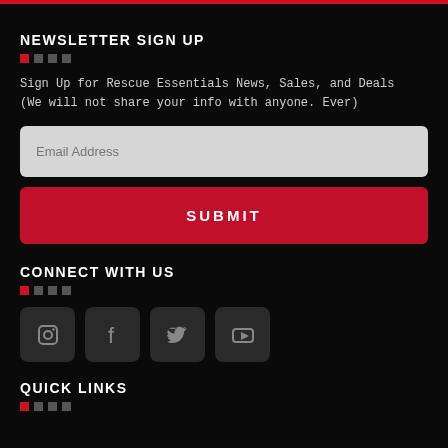NEWSLETTER SIGN UP
Sign Up for Rescue Essentials News, Sales, and Deals (We will not share your info with anyone. Ever)
Email Address
SUBMIT
CONNECT WITH US
[Figure (illustration): Four social media icons: Instagram, Facebook, Twitter, YouTube]
QUICK LINKS